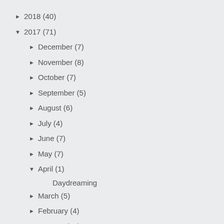► 2018 (40)
▼ 2017 (71)
► December (7)
► November (8)
► October (7)
► September (5)
► August (6)
► July (4)
► June (7)
► May (7)
▼ April (1)
Daydreaming
► March (5)
► February (4)
► January (10)
► 2016 (116)
► 2015 (2)